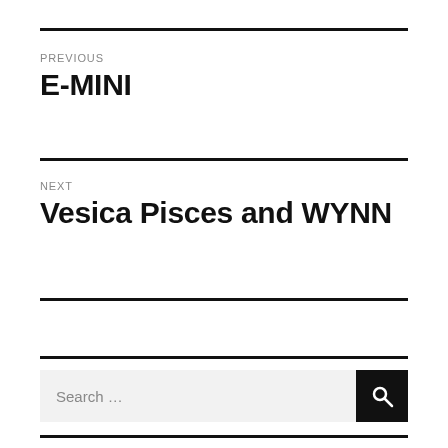PREVIOUS
E-MINI
NEXT
Vesica Pisces and WYNN